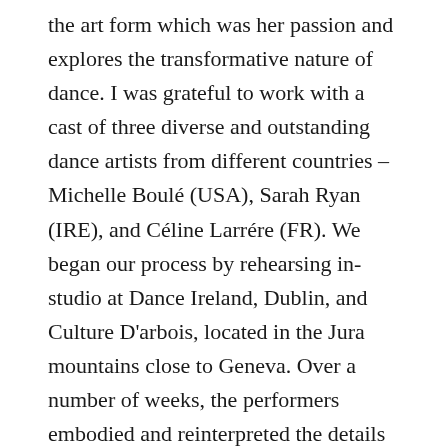the art form which was her passion and explores the transformative nature of dance. I was grateful to work with a cast of three diverse and outstanding dance artists from different countries – Michelle Boulé (USA), Sarah Ryan (IRE), and Céline Larrére (FR). We began our process by rehearsing in-studio at Dance Ireland, Dublin, and Culture D'arbois, located in the Jura mountains close to Geneva. Over a number of weeks, the performers embodied and reinterpreted the details of the language score. The score was also layered with experimental movement practices, that aim to cultivate present moment awareness. A separate voiceover was performed beautifully by Dublin based actresses Aenne Barr and Rebecca Warner.